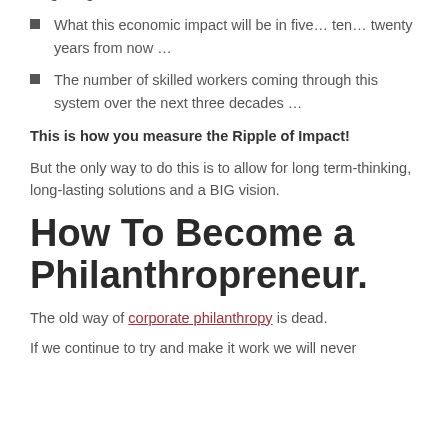on getting these children into education …
What this economic impact will be in five… ten… twenty years from now …
The number of skilled workers coming through this system over the next three decades …
This is how you measure the Ripple of Impact!
But the only way to do this is to allow for long term-thinking, long-lasting solutions and a BIG vision.
How To Become a Philanthropreneur.
The old way of corporate philanthropy is dead.
If we continue to try and make it work we will never